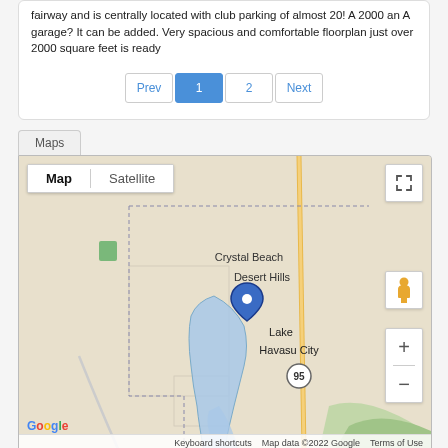fairway and is centrally located with club parking of almost 20! A 2000 an A garage? It can be added. Very spacious and comfortable floorplan just over 2000 square feet is ready
[Figure (screenshot): Pagination controls showing Prev, 1 (active/blue), 2, Next buttons]
[Figure (map): Google Map showing Lake Havasu City area with Map/Satellite toggle, fullscreen button, pegman icon, zoom +/- controls, and a blue location pin over Lake Havasu City. Shows Crystal Beach and Desert Hills labels, highway 95, and river/lake in blue. Google logo and attribution at bottom.]